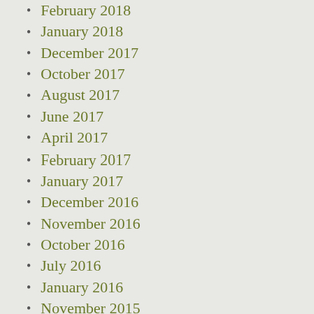February 2018
January 2018
December 2017
October 2017
August 2017
June 2017
April 2017
February 2017
January 2017
December 2016
November 2016
October 2016
July 2016
January 2016
November 2015
October 2015
September 2015